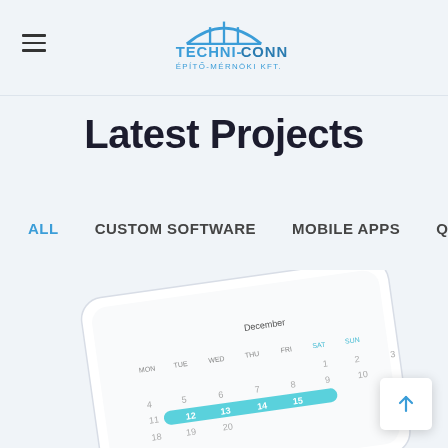Techni-Conn Építő-Mérnöki Kft.
Latest Projects
ALL
CUSTOM SOFTWARE
MOBILE APPS
QA &
[Figure (screenshot): A mobile phone screen displaying a calendar app showing December with dates, days of the week (MON, TUE, WED, THU, FRI, SAT, SUN), and highlighted dates 12–15 in teal/blue.]